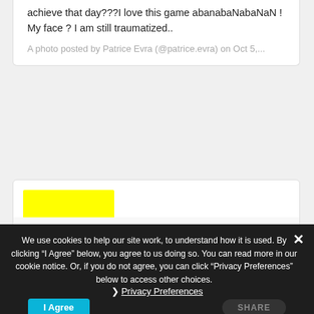achieve that day???I love this game abanabaNabaNaN ! My face ? I am still traumatized..
A photo posted by Patrice Evra (@patrice.evra) on Oct 5,...
[Figure (other): Yellow highlighted block in a social media card]
We use cookies to help our site work, to understand how it is used. By clicking "I Agree" below, you agree to us doing so. You can read more in our cookie notice. Or, if you do not agree, you can click "Privacy Preferences" below to access other choices.
❯ Privacy Preferences
I Agree
SHARE